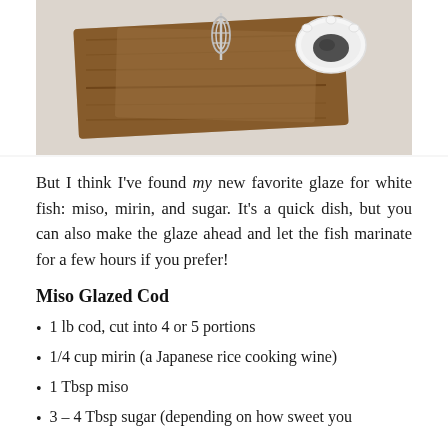[Figure (photo): Overhead photo of a wooden cutting board with a whisk and a small white ceramic dish containing dark miso, on a light gray background]
But I think I've found my new favorite glaze for white fish: miso, mirin, and sugar. It's a quick dish, but you can also make the glaze ahead and let the fish marinate for a few hours if you prefer!
Miso Glazed Cod
1 lb cod, cut into 4 or 5 portions
1/4 cup mirin (a Japanese rice cooking wine)
1 Tbsp miso
3 – 4 Tbsp sugar (depending on how sweet you